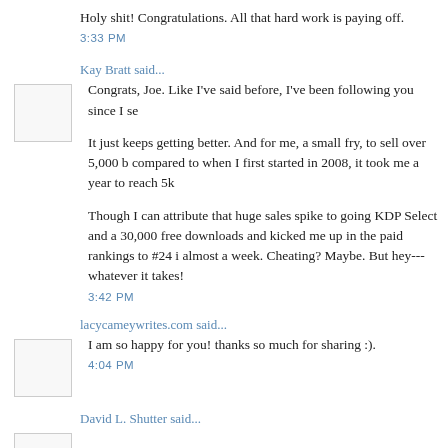Holy shit! Congratulations. All that hard work is paying off.
3:33 PM
Kay Bratt said...
Congrats, Joe. Like I've said before, I've been following you since I se
It just keeps getting better. And for me, a small fry, to sell over 5,000 b compared to when I first started in 2008, it took me a year to reach 5k
Though I can attribute that huge sales spike to going KDP Select and a 30,000 free downloads and kicked me up in the paid rankings to #24 i almost a week. Cheating? Maybe. But hey---whatever it takes!
3:42 PM
lacycameywrites.com said...
I am so happy for you! thanks so much for sharing :).
4:04 PM
David L. Shutter said...